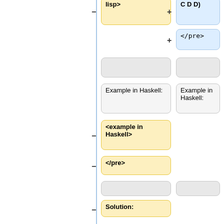[Figure (flowchart): A diff/comparison diagram showing two columns of code/text boxes. Left column has yellow highlighted boxes with minus signs (removed content) and right column has blue highlighted boxes with plus signs (added content). Content includes Haskell code examples and XML-like tags.]